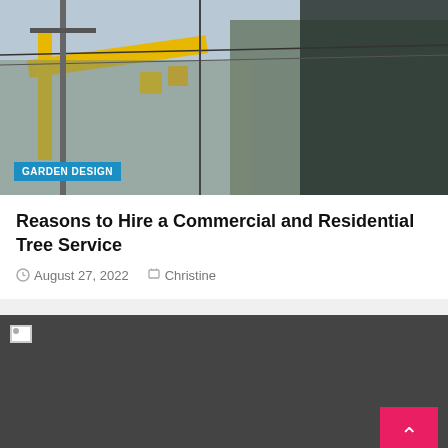[Figure (photo): Outdoor photo showing yellow utility crane/lift equipment and power lines against a winter sky with bare trees]
GARDEN DESIGN
Reasons to Hire a Commercial and Residential Tree Service
August 27, 2022   Christine
[Figure (photo): Dark grey placeholder image with broken image icon in top-left corner and a red scroll-to-top button in the bottom-right]
HOME REMODELING